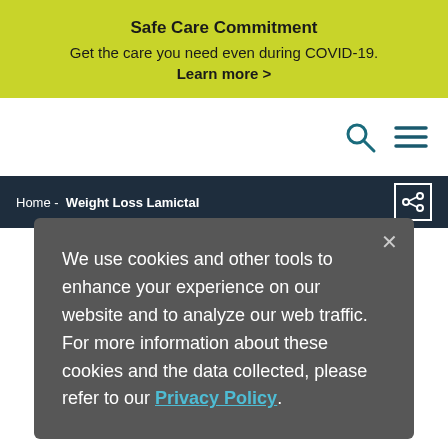Safe Care Commitment
Get the care you need even during COVID-19.
Learn more  >
Home  -  Weight Loss Lamictal
We use cookies and other tools to enhance your experience on our website and to analyze our web traffic. For more information about these cookies and the data collected, please refer to our Privacy Policy.